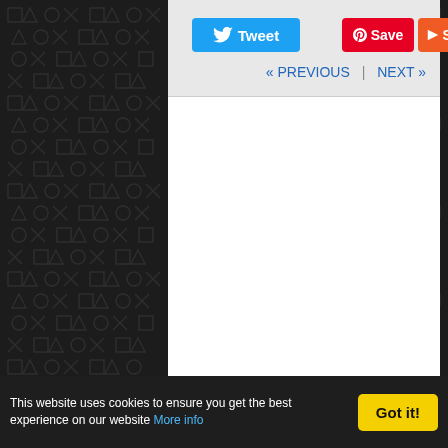[Figure (screenshot): Twitter Tweet button (blue with bird icon)]
[Figure (screenshot): Pinterest Save button (red with P icon) and Share button (orange with play icon)]
« PREVIOUS | NEXT »
Privacy Policy   Review Policy   Creative Commons License   About Us   Contact Us   Advertise/Press   Send us News Tips   Site Map
COPYRIGHT © PLAYSTATIONING.COM -
This website uses cookies to ensure you get the best experience on our website More info
[Figure (screenshot): Got it! button (yellow)]